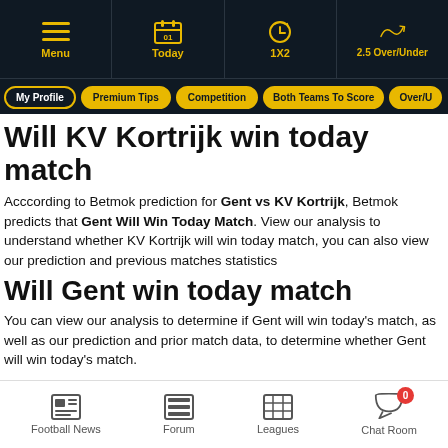Menu | Today | 1X2 | 2.5 Over/Under
My Profile | Premium Tips | Competition | Both Teams To Score | Over/U...
Will KV Kortrijk win today match
Acccording to Betmok prediction for Gent vs KV Kortrijk, Betmok predicts that Gent Will Win Today Match. View our analysis to understand whether KV Kortrijk will win today match, you can also view our prediction and previous matches statistics
Will Gent win today match
You can view our analysis to determine if Gent will win today's match, as well as our prediction and prior match data, to determine whether Gent will win today's match.
Will both teams score in Gent vs
Football News | Forum | Leagues | Chat Room